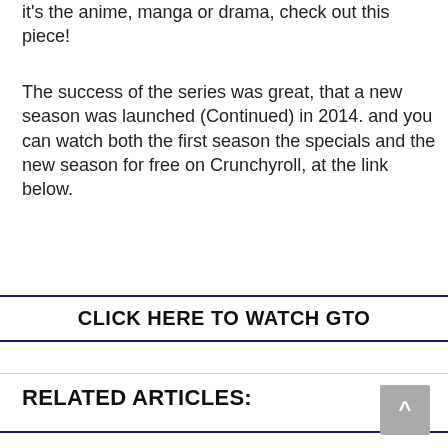it's the anime, manga or drama, check out this piece!
The success of the series was great, that a new season was launched (Continued) in 2014. and you can watch both the first season the specials and the new season for free on Crunchyroll, at the link below.
CLICK HERE TO WATCH GTO
RELATED ARTICLES: